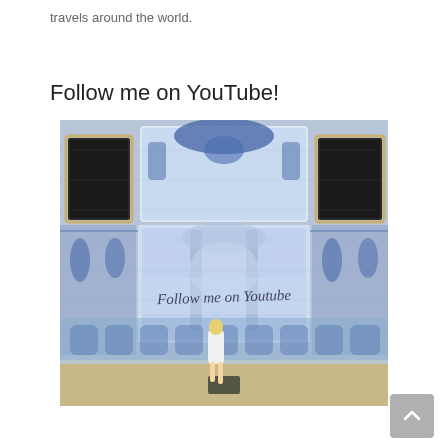travels around the world.
Follow me on YouTube!
[Figure (photo): A woman standing in front of a large ornate blue and white azulejo tile facade of a building, with the text 'Follow me on YouTube' overlaid on the image. The tile mural is highly detailed with baroque-style figures, architectural elements, and decorative patterns in blue on white ceramic tiles. Two dark windows flank the central mural panel.]